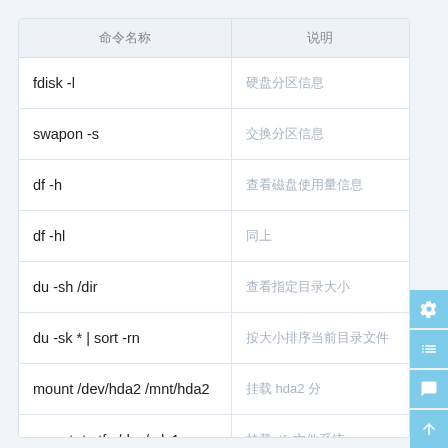| 命令名称 | 说明 |
| --- | --- |
| fdisk -l | 硬盘分区信息 |
| swapon -s | 交换分区信息 |
| df -h | 查看磁盘使用量信息 |
| df -hl | 同上 |
| du -sh /dir | 查看指定目录大小 |
| du -sk * | sort -rn | 按大小排序当前目录文件 |
| mount /dev/hda2 /mnt/hda2 | 挂载 hda2 分 |
| mount -t ntfs /dev/sdc1 | 挂载ntfs文件系统 |